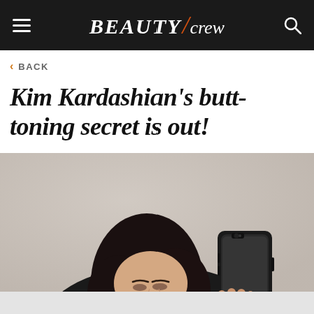BEAUTY/crew
< BACK
Kim Kardashian's butt-toning secret is out!
[Figure (photo): Woman with dark hair taking a mirror selfie with a black smartphone, shot against a light beige/gray background. Only the upper portion of face and hand holding phone visible.]